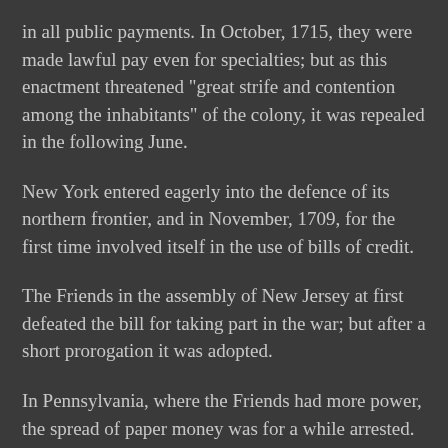in all public payments. In October, 1715, they were made lawful pay even for specialties; but as this enactment threatened "great strife and contention among the inhabitants" of the colony, it was repealed in the following June.
New York entered eagerly into the defence of its northern frontier, and in November, 1709, for the first time involved itself in the use of bills of credit.
The Friends in the assembly of New Jersey at first defeated the bill for taking part in the war; but after a short prorogation it was adopted.
In Pennsylvania, where the Friends had more power, the spread of paper money was for a while arrested.
In November, 1711, Rhode Island discharged a claim by a loan of its bills of credit to the amount of three hundred pounds for four years, free of interest. South Carolina gave a wider development to this new form of using paper. Its legislature, on the pretext of creating a